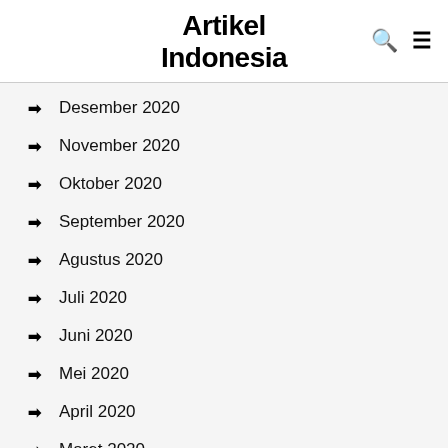Artikel Indonesia
Desember 2020
November 2020
Oktober 2020
September 2020
Agustus 2020
Juli 2020
Juni 2020
Mei 2020
April 2020
Maret 2020
Februari 2020